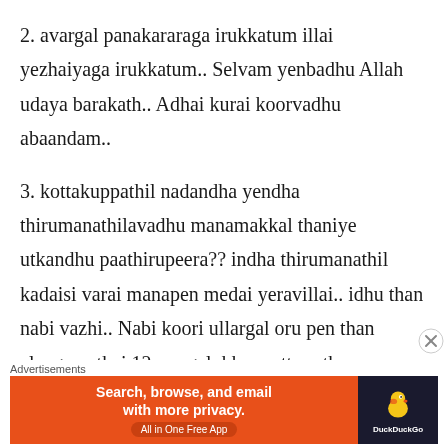2. avargal panakararaga irukkatum illai yezhaiyaga irukkatum.. Selvam yenbadhu Allah udaya barakath.. Adhai kurai koorvadhu abaandam..
3. kottakuppathil nadandha yendha thirumanathilavadhu manamakkal thaniye utkandhu paathirupeera?? indha thirumanathil kadaisi varai manapen medai yeravillai.. idhu than nabi vazhi.. Nabi koori ullargal oru pen than alangaarathai 12 per galukku mattum than kaanbika vendum... aanal kottakuppathil
Advertisements
[Figure (infographic): DuckDuckGo advertisement banner: orange background on left with text 'Search, browse, and email with more privacy. All in One Free App', dark right panel with DuckDuckGo logo and duck icon.]